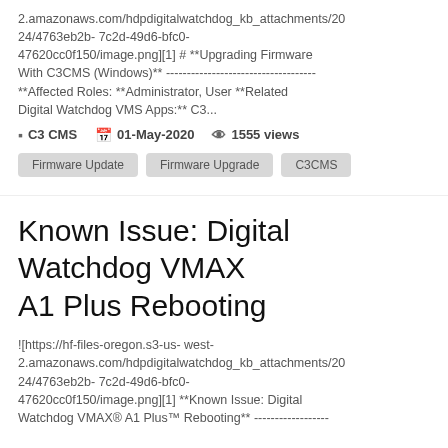2.amazonaws.com/hdpdigitalwatchdog_kb_attachments/20 24/4763eb2b- 7c2d-49d6-bfc0-47620cc0f150/image.png][1] # **Upgrading Firmware With C3CMS (Windows)** ------------------------------------ **Affected Roles: **Administrator, User **Related Digital Watchdog VMS Apps:** C3...
C3 CMS   01-May-2020   1555 views
Firmware Update   Firmware Upgrade   C3CMS
Known Issue: Digital Watchdog VMAX A1 Plus Rebooting
![https://hf-files-oregon.s3-us- west-2.amazonaws.com/hdpdigitalwatchdog_kb_attachments/20 24/4763eb2b- 7c2d-49d6-bfc0-47620cc0f150/image.png][1] **Known Issue: Digital Watchdog VMAX® A1 Plus™ Rebooting** ------------------